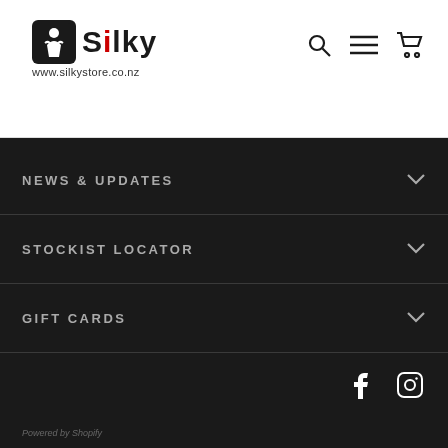[Figure (logo): Silky brand logo with a black square icon containing a white figure, bold text 'Silky' with red 'i', and URL www.silkystore.co.nz below]
NEWS & UPDATES
STOCKIST LOCATOR
GIFT CARDS
[Figure (other): Facebook and Instagram social media icons in white on dark background]
Powered by Shopify